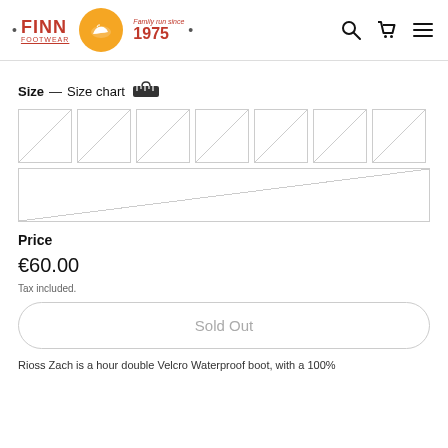FINN Footwear — Family run since 1975
Size — Size chart
[Figure (other): 8 size selector boxes all crossed out (sold out), arranged in two rows: 7 in the first row, 1 in the second row]
Price
€60.00
Tax included.
Sold Out
Rioss Zach is a hour double Velcro Waterproof boot, with a 100%